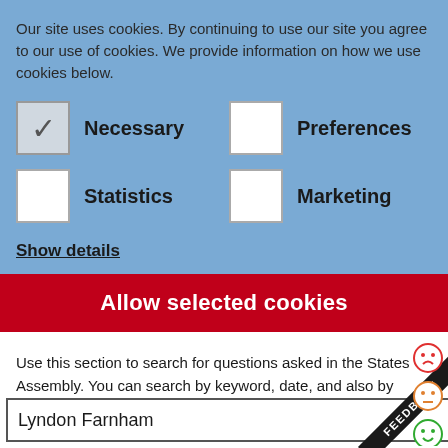Our site uses cookies. By continuing to use our site you agree to our use of cookies. We provide information on how we use cookies below.
Necessary
Preferences
Statistics
Marketing
Show details
Allow selected cookies
Use this section to search for questions asked in the States Assembly. You can search by keyword, date, and also by selecting who asked or answered the question.
Lyndon Farnham